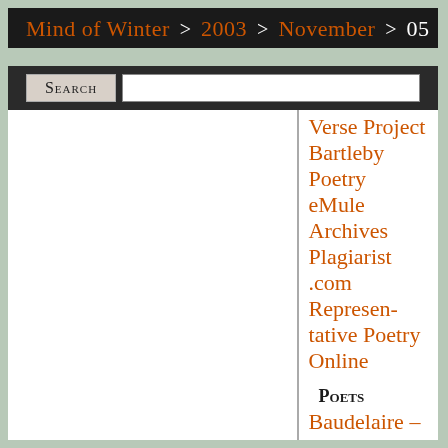Mind of Winter > 2003 > November > 05
Search
Verse Project
Bartleby
Poetry
eMule
Archives
Plagiarist.com
Representative Poetry Online
Poets
Baudelaire – Fleurs Du Mal
The